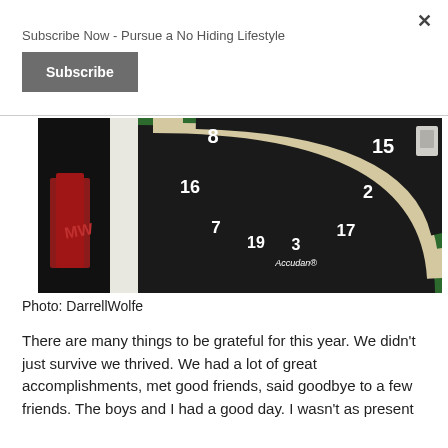Subscribe Now - Pursue a No Hiding Lifestyle
Subscribe
[Figure (photo): A dartboard (Accudan brand) mounted on a wall, showing the upper half with numbers 8, 15, 16, 2, 7, 19, 3, 17 visible. The board has black and green/red segments. The left side shows a dark storage area with red items.]
Photo: DarrellWolfe
There are many things to be grateful for this year. We didn't just survive we thrived. We had a lot of great accomplishments, met good friends, said goodbye to a few friends. The boys and I had a good day. I wasn't as present